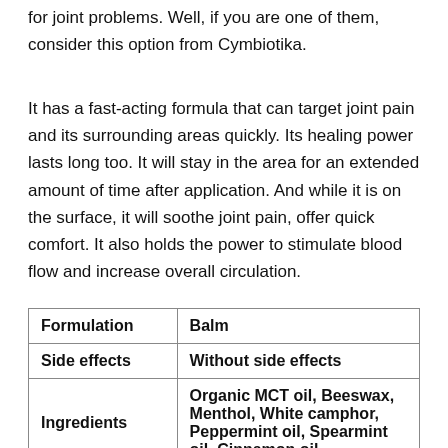for joint problems. Well, if you are one of them, consider this option from Cymbiotika.
It has a fast-acting formula that can target joint pain and its surrounding areas quickly. Its healing power lasts long too. It will stay in the area for an extended amount of time after application. And while it is on the surface, it will soothe joint pain, offer quick comfort. It also holds the power to stimulate blood flow and increase overall circulation.
| Formulation | Balm |
| --- | --- |
| Side effects | Without side effects |
| Ingredients | Organic MCT oil, Beeswax, Menthol, White camphor, Peppermint oil, Spearmint oil, Cinnamon oil |
| Price | $56 |